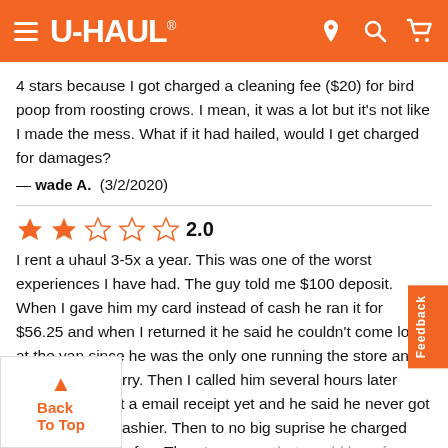U-HAUL
4 stars because I got charged a cleaning fee ($20) for bird poop from roosting crows. I mean, it was a lot but it's not like I made the mess. What if it had hailed, would I get charged for damages?
— wade A.  (3/2/2020)
[Figure (other): 2.0 star rating shown with 2 filled orange stars and 3 empty stars]
I rent a uhaul 3-5x a year. This was one of the worst experiences I have had. The guy told me $100 deposit. When I gave him my card instead of cash he ran it for $56.25 and when I returned it he said he couldn't come look at the van since he was the only one running the store and for us not to worry. Then I called him several hours later since I didnt get a email receipt yet and he said he never got our keys from cashier. Then to no big suprise he charged me $20 cleaning fe... There's no way that would be a far charge as I know what uhau... thought it was a shady establishment and probably my fault for not listening to my gut when I walked in.
SHAUN N.  (1/24/2020)